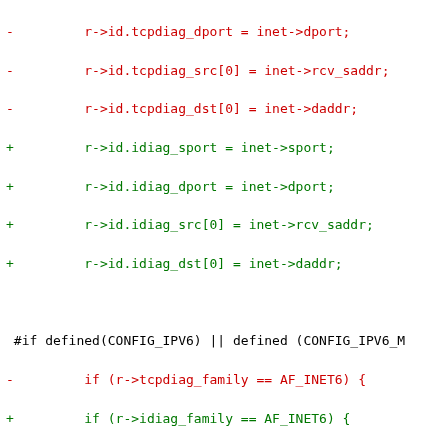[Figure (screenshot): Code diff showing changes from tcpdiag to idiag naming conventions in Linux kernel networking code, with red lines showing removed code and green lines showing added code, plus context lines in black and diff headers in blue.]